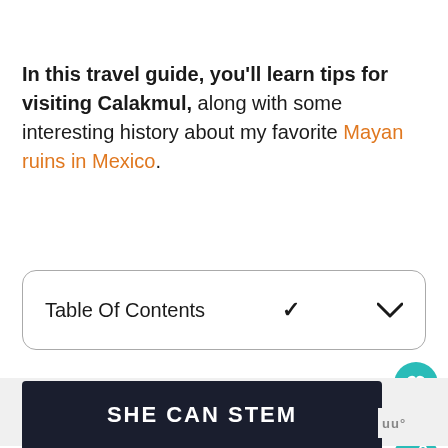In this travel guide, you'll learn tips for visiting Calakmul, along with some interesting history about my favorite Mayan ruins in Mexico.
| Table Of Contents |
| --- |
[Figure (other): Social media floating action buttons: teal heart button with 115 count, and teal share button]
[Figure (other): Advertisement banner for SHE CAN STEM on dark background]